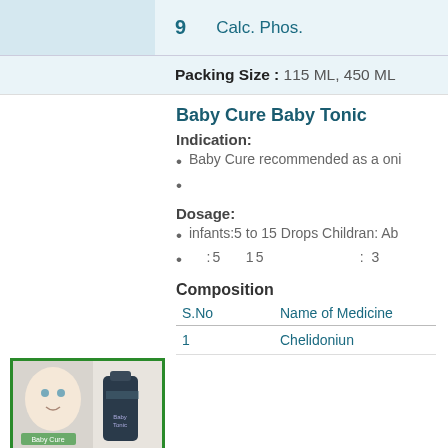| S.No | Name of Medicine (continued) |
| --- | --- |
| 9 | Calc. Phos. |
Packing Size : 115 ML, 450 ML
Baby Cure Baby Tonic
Indication:
Baby Cure recommended as a oni
Dosage:
infants:5 to 15 Drops Childran: Ab
:5    15                    : 3
Composition
| S.No | Name of Medicine |
| --- | --- |
| 1 | Chelidoniun |
[Figure (photo): Product image of Baby Cure Baby Tonic bottle with baby photo, green border]